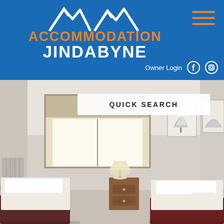[Figure (logo): Accommodation Jindabyne logo with mountain peaks icon, orange and white text on blue background]
Owner Login
[Figure (screenshot): Interior bedroom photo showing two single beds with white bedding, wooden bedside table, large window with white curtains, and two framed pictures on the wall]
QUICK SEARCH